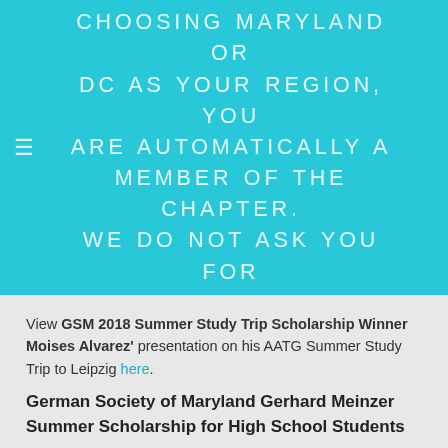JOIN THE MARYLAND-DC METRO AATG CHAPTER! BY BECOMING A MEMBER OF THE NATIONAL AATG AND CHOOSING MARYLAND OR DC AS YOUR REGION, YOU ARE AUTOMATICALLY A MEMBER OF THE CHAPTER. WE DO NOT ASK YOU FOR ADDITIONAL DUES. SHARE, COLLABORATE, EXCHANGE AND GROW &NDA
View GSM 2018 Summer Study Trip Scholarship Winner Moises Alvarez' presentation on his AATG Summer Study Trip to Leipzig here.
German Society of Maryland Gerhard Meinzer Summer Scholarship for High School Students